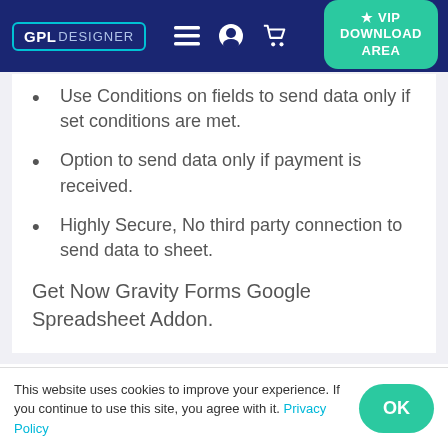GPL DESIGNER | VIP DOWNLOAD AREA
Use Conditions on fields to send data only if set conditions are met.
Option to send data only if payment is received.
Highly Secure, No third party connection to send data to sheet.
Get Now Gravity Forms Google Spreadsheet Addon.
This website uses cookies to improve your experience. If you continue to use this site, you agree with it. Privacy Policy | OK